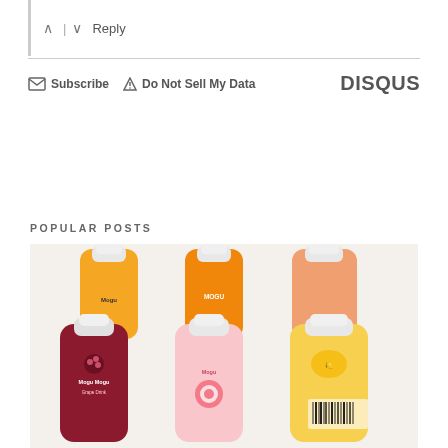^ | v  Reply
Subscribe  Do Not Sell My Data  DISQUS
POPULAR POSTS
[Figure (photo): Six bottles of Mogu Mogu fruit drinks arranged in two rows - flavors include grape (dark red), mango (orange), lychee (pink), and others, photographed from above on a white marble surface]